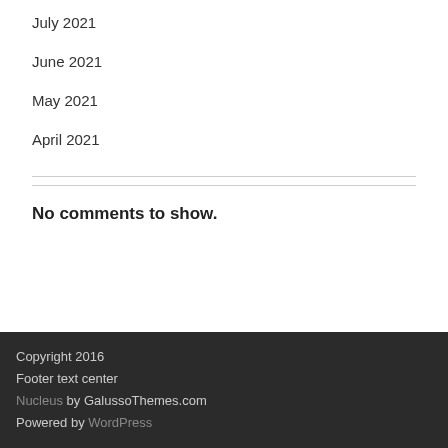July 2021
June 2021
May 2021
April 2021
No comments to show.
Copyright 2016
Footer text center
Nucleus by GalussoThemes.com
Powered by WordPress